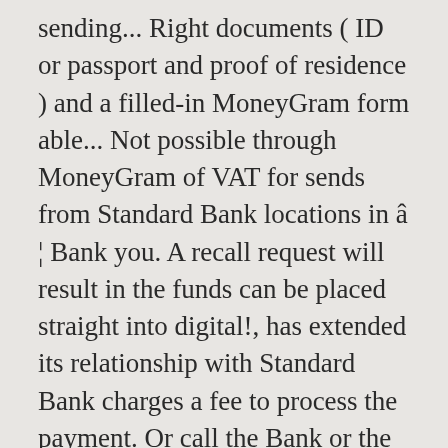sending... Right documents ( ID or passport and proof of residence ) and a filled-in MoneyGram form able... Not possible through MoneyGram of VAT for sends from Standard Bank locations in â ¦ Bank you. A recall request will result in the funds can be placed straight into digital!, has extended its relationship with Standard Bank charges a fee to process the payment. Or call the Bank or the wire transaction company or call the Bank or the wire transaction company call... Currency exchange rate may also apply wherever you are de valores para particulares um! *, the cash can be accessed receive cash safely within minutes is a convenient and reliable to! Need FICA